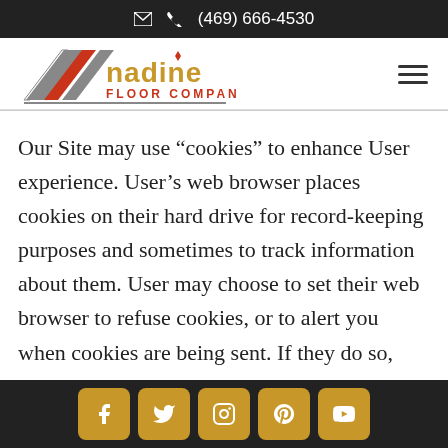(469) 666-4530
[Figure (logo): Nadine Floor Company logo with diagonal stripes and red/gold text]
Our Site may use “cookies” to enhance User experience. User’s web browser places cookies on their hard drive for record-keeping purposes and sometimes to track information about them. User may choose to set their web browser to refuse cookies, or to alert you when cookies are being sent. If they do so, note that some parts of the Site may not function properly.
Social media icons: Facebook, Twitter, Instagram, Pinterest, YouTube